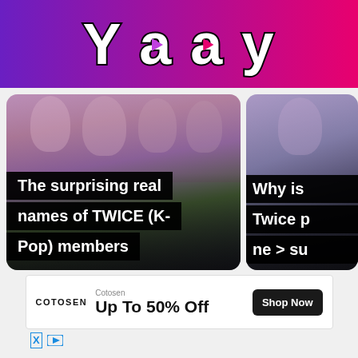[Figure (logo): Yaay app logo with play button icons in the letters on a purple-to-pink gradient background]
[Figure (photo): Thumbnail card showing TWICE K-Pop members with overlaid black title text boxes reading: The surprising real names of TWICE (K-Pop) members]
[Figure (photo): Partial thumbnail card on right showing another TWICE related article with text: Why is... Twice p... new > su...]
COTOSEN  Cotosen  Up To 50% Off  Shop Now